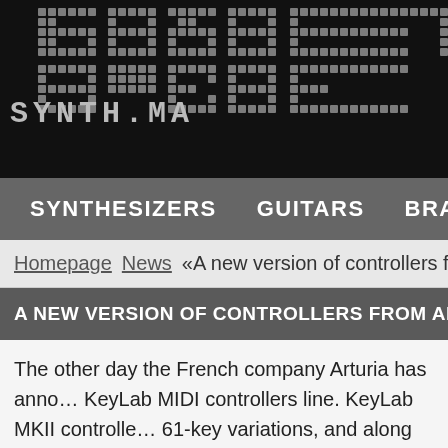[Figure (logo): Synth.ma website logo with pixelated/dot-matrix style lettering on black background showing large pixel letters and 'SYNTH.MA' text below]
SYNTHESIZERS   GUITARS   BRAN...
Homepage  News  «A new version of controllers fro...
A NEW VERSION OF CONTROLLERS FROM ART...
The other day the French company Arturia has anno... KeyLab MIDI controllers line. KeyLab MKII controlle... 61-key variations, and along with the functionality